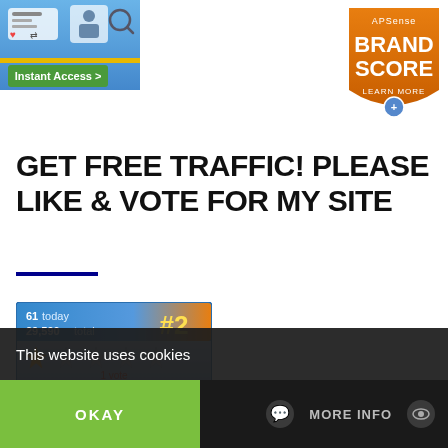[Figure (screenshot): Social media / instant access promotional banner with icons and green Instant Access button]
[Figure (logo): APSense Brand Score badge in orange/gold with text BRAND SCORE and LEARN MORE]
GET FREE TRAFFIC! PLEASE LIKE & VOTE FOR MY SITE
[Figure (screenshot): Rating widget showing #2 ranking, 61 today, 29,590 total, 1 star rating out of 5, 1 vote, add your review button]
This website uses cookies
OKAY
MORE INFO